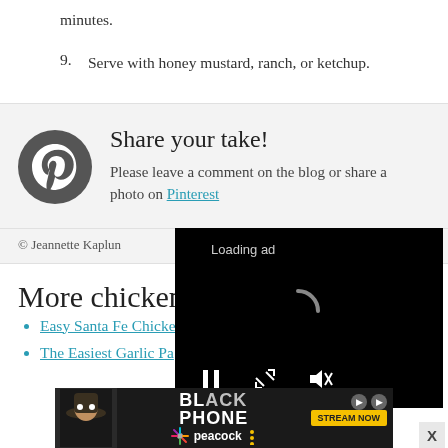minutes.
9. Serve with honey mustard, ranch, or ketchup.
[Figure (other): Pinterest share call-to-action block with Pinterest logo icon, heading 'Share your take!', and body text 'Please leave a comment on the blog or share a photo on Pinterest']
© Jeannette Kaplun
More chicken r
Easy Santa Fe Chicken Foil Packets Recipe
The Easiest Garlic Parmesan Chicken with...
[Figure (other): Video ad overlay showing 'Loading ad' text with spinner and playback controls on black background]
[Figure (other): Bottom banner ad for 'Black Phone' on Peacock with 'Stream Now' button and X close button]